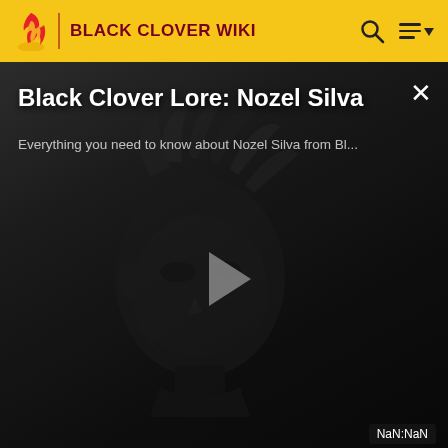BLACK CLOVER WIKI
[Figure (screenshot): Black Clover Lore: Nozel Silva video thumbnail showing anime character silhouette with play button. Title: 'Black Clover Lore: Nozel Silva'. Subtitle: 'Everything you need to know about Nozel Silva from Bl...' Timestamp badge: 'NaN:NaN']
magic to increase his physical abilities.[106]
Creation Magic: Nozel uses this form of magic to shape objects and entities from mercury.[107]
[Figure (photo): Image placeholder (left) at bottom of page]
[Figure (photo): Image placeholder (right) at bottom of page]